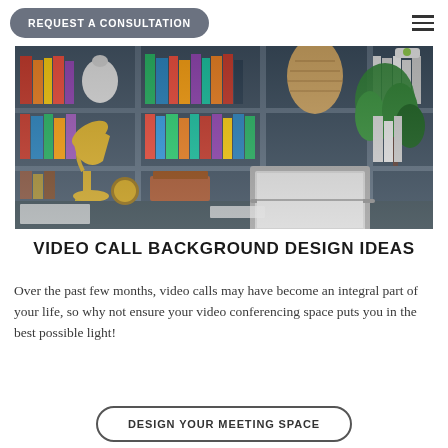REQUEST A CONSULTATION
[Figure (photo): A stylish home office with dark bookshelves filled with books and decorative objects, a gold desk lamp, an open laptop on a dark desk, papers, and a green plant in the background.]
VIDEO CALL BACKGROUND DESIGN IDEAS
Over the past few months, video calls may have become an integral part of your life, so why not ensure your video conferencing space puts you in the best possible light!
DESIGN YOUR MEETING SPACE